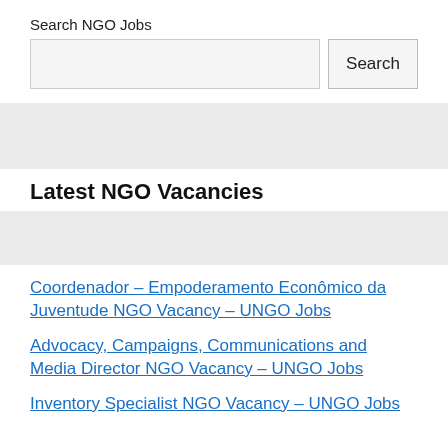Search NGO Jobs
[Figure (screenshot): Search input box and Search button]
Latest NGO Vacancies
Coordenador – Empoderamento Econômico da Juventude NGO Vacancy – UNGO Jobs
Advocacy, Campaigns, Communications and Media Director NGO Vacancy – UNGO Jobs
Inventory Specialist NGO Vacancy – UNGO Jobs